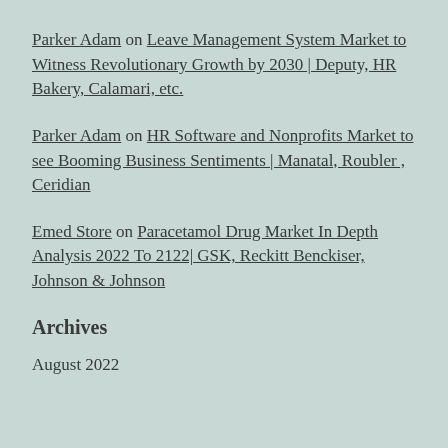Parker Adam on Leave Management System Market to Witness Revolutionary Growth by 2030 | Deputy, HR Bakery, Calamari, etc.
Parker Adam on HR Software and Nonprofits Market to see Booming Business Sentiments | Manatal, Roubler , Ceridian
Emed Store on Paracetamol Drug Market In Depth Analysis 2022 To 2122| GSK, Reckitt Benckiser, Johnson & Johnson
Archives
August 2022